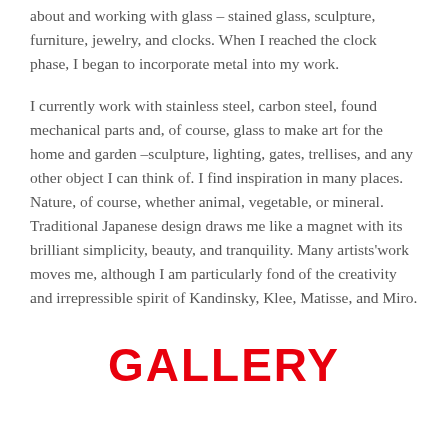about and working with glass – stained glass, sculpture, furniture, jewelry, and clocks. When I reached the clock phase, I began to incorporate metal into my work.
I currently work with stainless steel, carbon steel, found mechanical parts and, of course, glass to make art for the home and garden –sculpture, lighting, gates, trellises, and any other object I can think of. I find inspiration in many places. Nature, of course, whether animal, vegetable, or mineral. Traditional Japanese design draws me like a magnet with its brilliant simplicity, beauty, and tranquility. Many artists'work moves me, although I am particularly fond of the creativity and irrepressible spirit of Kandinsky, Klee, Matisse, and Miro.
GALLERY